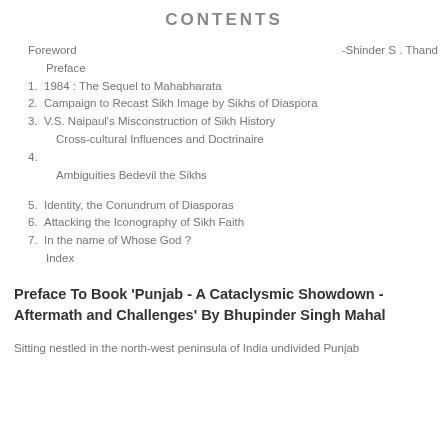CONTENTS
Foreword -Shinder S. Thand
Preface
1.1984 : The Sequel to Mahabharata
2.Campaign to Recast Sikh Image by Sikhs of Diaspora
3.V.S. Naipaul's Misconstruction of Sikh History
   Cross-cultural Influences and Doctrinaire
4.
   Ambiguities Bedevil the Sikhs
5.Identity, the Conundrum of Diasporas
6.Attacking the Iconography of Sikh Faith
7.In the name of Whose God ?
Index
Preface To Book 'Punjab - A Cataclysmic Showdown - Aftermath and Challenges' By Bhupinder Singh Mahal
Sitting nestled in the north-west peninsula of India undivided Punjab